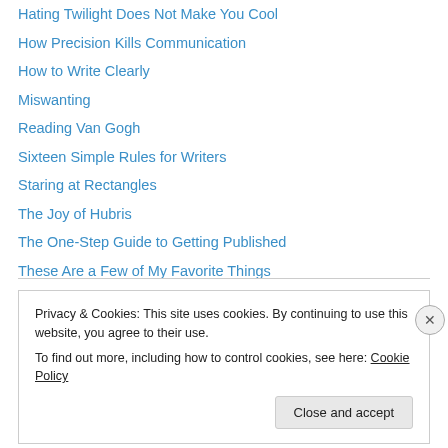Hating Twilight Does Not Make You Cool
How Precision Kills Communication
How to Write Clearly
Miswanting
Reading Van Gogh
Sixteen Simple Rules for Writers
Staring at Rectangles
The Joy of Hubris
The One-Step Guide to Getting Published
These Are a Few of My Favorite Things
You Do Not Even Have to Believe in Yourself
Privacy & Cookies: This site uses cookies. By continuing to use this website, you agree to their use. To find out more, including how to control cookies, see here: Cookie Policy